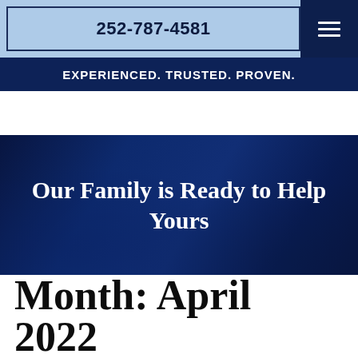252-787-4581
EXPERIENCED. TRUSTED. PROVEN.
[Figure (photo): Dark blue overlay hero image showing people (family/legal consultation) in background with dark navy tint]
Our Family is Ready to Help Yours
Month: April 2022